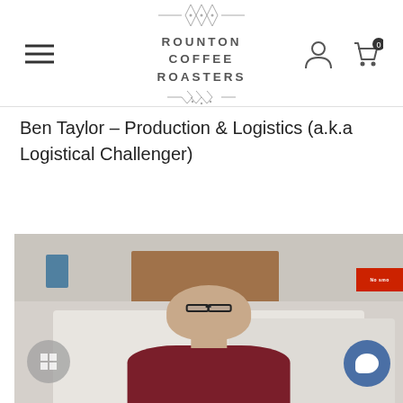[Figure (logo): Rounton Coffee Roasters logo with ornamental diamond/cross pattern above and below the text, centered at top of page]
Ben Taylor – Production & Logistics (a.k.a Logistical Challenger)
[Figure (photo): Photograph of Ben Taylor, a bald man with glasses and a beard wearing a dark red/maroon sweater, standing in what appears to be a coffee roastery with white buckets and wooden shelving behind him. A 'No smoking' sign is partially visible on the right. Chat and grid overlay buttons are visible in lower corners.]